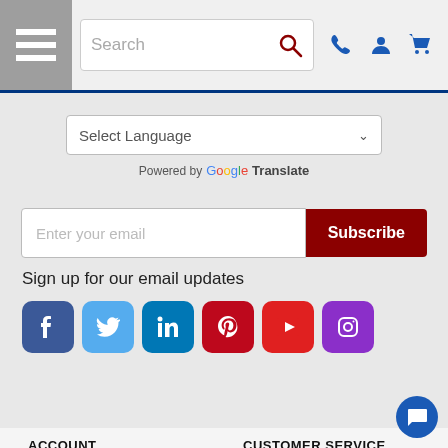[Figure (screenshot): Website header with hamburger menu icon, search bar, phone icon, account icon, and cart icon]
[Figure (screenshot): Language selector dropdown showing 'Select Language' with chevron, Powered by Google Translate text, email subscription input with Subscribe button, 'Sign up for our email updates' text, and social media icons for Facebook, Twitter, LinkedIn, Pinterest, YouTube, Instagram]
ACCOUNT
My Account
Track Order
Wishlist
CUSTOMER SERVICE
Order and Shipping policy
Return Policy
Privacy Policy